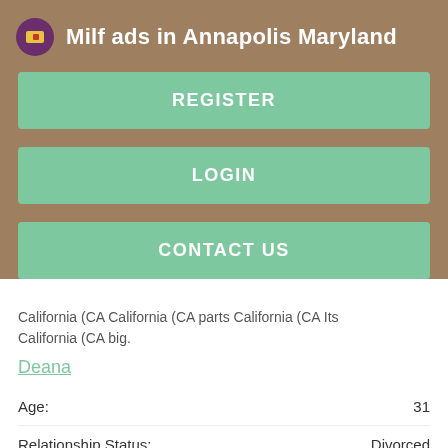Milf ads in Annapolis Maryland
REGISTER
LOGIN
CONTACT US
California (CA California (CA parts California (CA Its California (CA big.
Deana
|  |  |
| --- | --- |
| Age: | 31 |
| Relationship Status: | Divorced |
| Seeking: | Ready Teen Fuck |